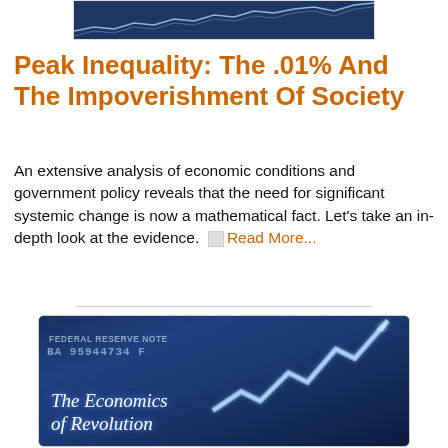[Figure (illustration): Top banner image showing a financial chart/graph with light lines on dark blue background]
Peak Inequality: The .01% And The Impoverishment Of Society
An extensive analysis of economic conditions and government policy reveals that the need for significant systemic change is now a mathematical fact. Let's take an in-depth look at the evidence. Read More...
[Figure (illustration): Book cover image for 'The Economics of Revolution' showing a glowing upward arrow chart over a US dollar bill background in blue tones]